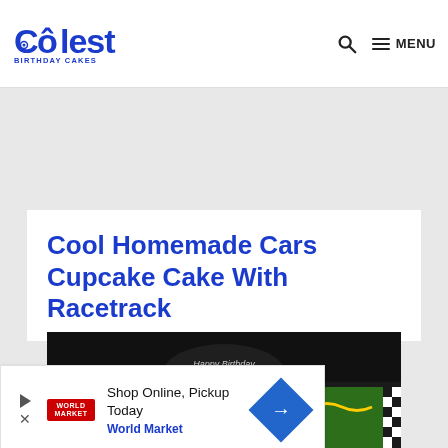Coolest Birthday Cakes
Cool Homemade Cars Cupcake Cake With Racetrack
[Figure (photo): Photo of a Cars-themed cupcake cake with green racetrack frosting, checkered border, and toy cars on top, with 'Happy Birthday' text visible]
Shop Online, Pickup Today
World Market